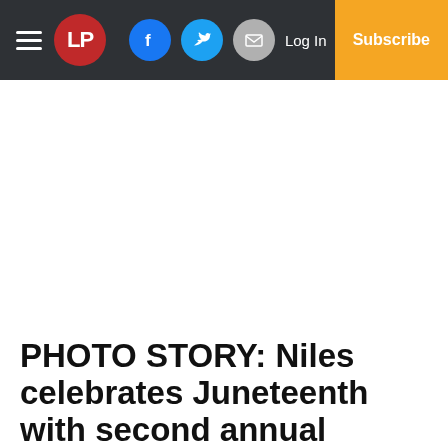LP | Log In | Subscribe
PHOTO STORY: Niles celebrates Juneteenth with second annual